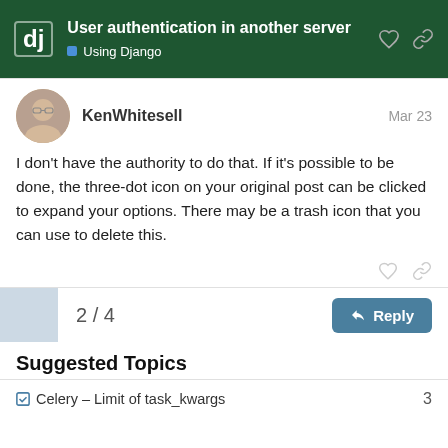User authentication in another server — Using Django
KenWhitesell  Mar 23
I don't have the authority to do that. If it's possible to be done, the three-dot icon on your original post can be clicked to expand your options. There may be a trash icon that you can use to delete this.
2 / 4
Suggested Topics
Celery – Limit of task_kwargs  3